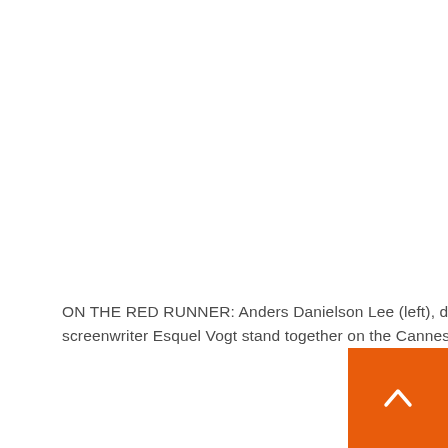ON THE RED RUNNER: Anders Danielson Lee (left), director Joachim Trier, Renate Rainsvi, Herbert Nordram and screenwriter Esquel Vogt stand together on the Cannes red carpet. Photo: Johanna Geron/Reuters